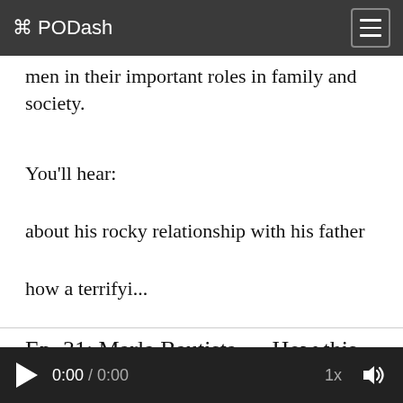⊕ PODash
men in their important roles in family and society.
You'll hear:
about his rocky relationship with his father
how a terrifyi...
Ep. 31: Marla Bautista — How this brave woman beat homelessness without becoming a savage
0:00 / 0:00   1x